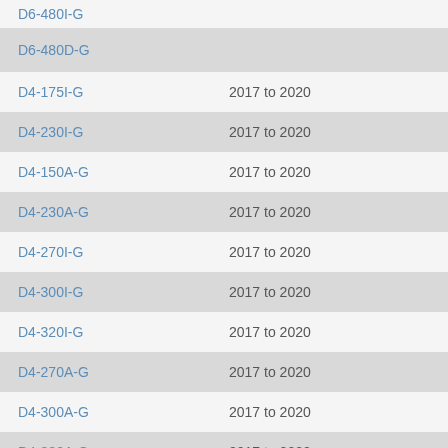| Model | Years |
| --- | --- |
| D6-480I-G |  |
| D6-480D-G |  |
| D4-175I-G | 2017 to 2020 |
| D4-230I-G | 2017 to 2020 |
| D4-150A-G | 2017 to 2020 |
| D4-230A-G | 2017 to 2020 |
| D4-270I-G | 2017 to 2020 |
| D4-300I-G | 2017 to 2020 |
| D4-320I-G | 2017 to 2020 |
| D4-270A-G | 2017 to 2020 |
| D4-300A-G | 2017 to 2020 |
| D4-320A-G | 2017 to 2020 |